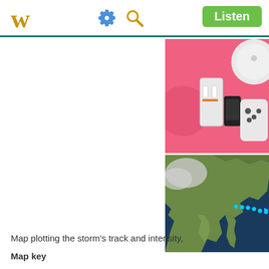W  [gear icon] [search icon]  Listen
[Figure (photo): Advertisement banner with pink background showing electronic gadgets including a game console, robot vacuum, and gaming controller]
[Figure (map): Satellite map of South/Southeast Asia showing a storm track path marked with cyan dots tracking from the Philippines Sea westward]
Map plotting the storm's track and intensity,
Map key